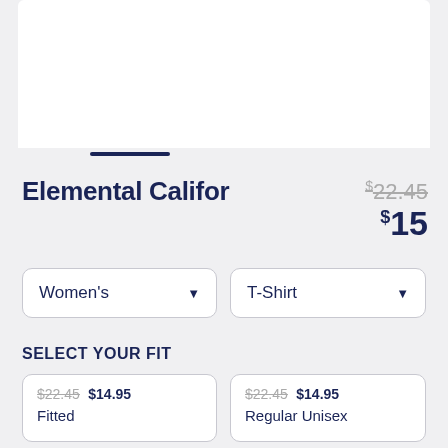[Figure (photo): Product image area (white background, product image cropped/not visible in this portion)]
Elemental Califor
$22.45 $15
Women's
T-Shirt
SELECT YOUR FIT
$22.45 $14.95 Fitted
$22.45 $14.95 Regular Unisex